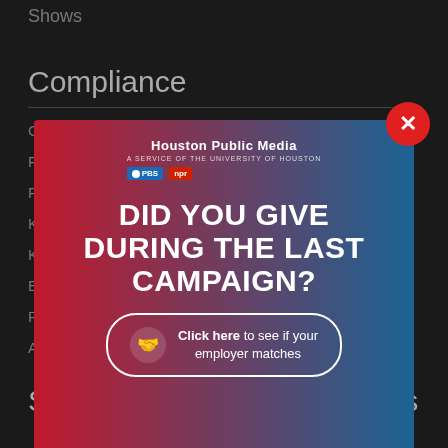Shows
Compliance
CPB Compliance
FCC Station Information
FC
KU
KU
Et
Privacy Policy
Additional Disclosures
Subscribe to Our Newsletters
[Figure (infographic): Modal popup for Houston Public Media with gradient red-to-blue background. Text reads 'DID YOU GIVE DURING THE LAST CAMPAIGN?' with a CTA button 'Click here to see if your employer matches'. Includes PBS and NPR logos. Red X close button in top-right corner.]